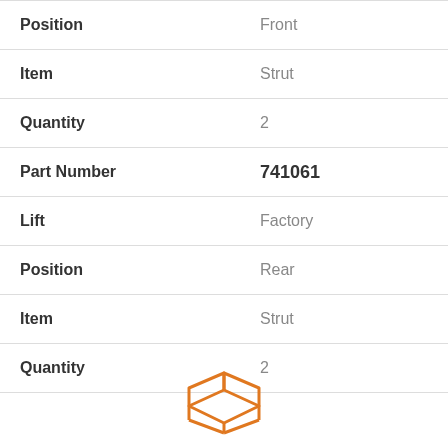| Field | Value |
| --- | --- |
| Position | Front |
| Item | Strut |
| Quantity | 2 |
| Part Number | 741061 |
| Lift | Factory |
| Position | Rear |
| Item | Strut |
| Quantity | 2 |
[Figure (logo): Orange open box logo at bottom center of page]